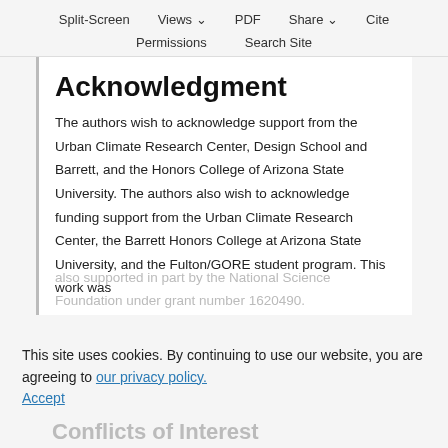Split-Screen  Views  PDF  Share  Cite
Permissions  Search Site
Acknowledgment
The authors wish to acknowledge support from the Urban Climate Research Center, Design School and Barrett, and the Honors College of Arizona State University. The authors also wish to acknowledge funding support from the Urban Climate Research Center, the Barrett Honors College at Arizona State University, and the Fulton/GORE student program. This work was also supported in part by the National Science Foundation under grant number 1620490.
This site uses cookies. By continuing to use our website, you are agreeing to our privacy policy. Accept
Conflicts of Interest